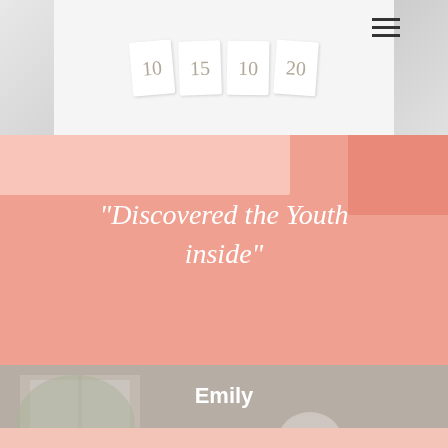[Figure (photo): Top section showing a screenshot of calendar number cards fanned out, with a hamburger menu icon on the right]
"Discovered the Youth inside"
Emily
By far one of the best retreats around, professional in every aspect but friendly too.
[Figure (photo): Background photo of an elderly woman relaxing, overlaid with a large closing quotation mark and a pink circle button with three dots]